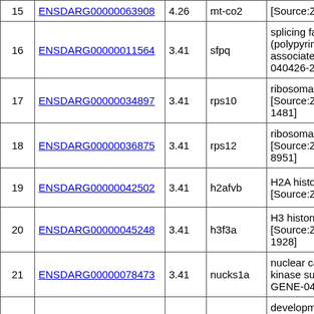| # | Gene ID | Score | Gene Name | Description |
| --- | --- | --- | --- | --- |
| 15 | ENSDARG00000063908 | 4.26 | mt-co2 | [Source:ZF... |
| 16 | ENSDARG00000011564 | 3.41 | sfpq | splicing fa... (polypyrim... associated)... 040426-24... |
| 17 | ENSDARG00000034897 | 3.41 | rps10 | ribosomal ... [Source:ZF... 1481] |
| 18 | ENSDARG00000036875 | 3.41 | rps12 | ribosomal ... [Source:ZF... 8951] |
| 19 | ENSDARG00000042502 | 3.41 | h2afvb | H2A histor... [Source:ZF... |
| 20 | ENSDARG00000045248 | 3.41 | h3f3a | H3 histone... [Source:ZF... 1928] |
| 21 | ENSDARG00000078473 | 3.41 | nucks1a | nuclear cas... kinase subs... GENE-040... |
| 22 | ENSDARG00000006642 | 2.56 | drg2 | developme... protein 2 [S... 040808-29... |